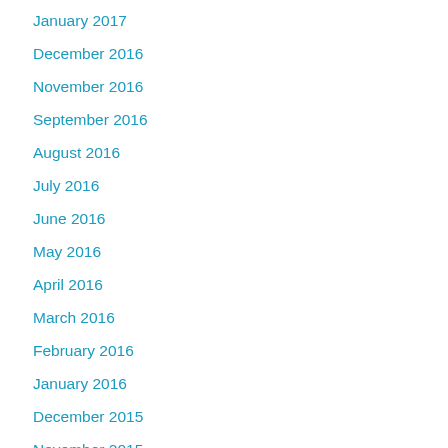January 2017
December 2016
November 2016
September 2016
August 2016
July 2016
June 2016
May 2016
April 2016
March 2016
February 2016
January 2016
December 2015
November 2015